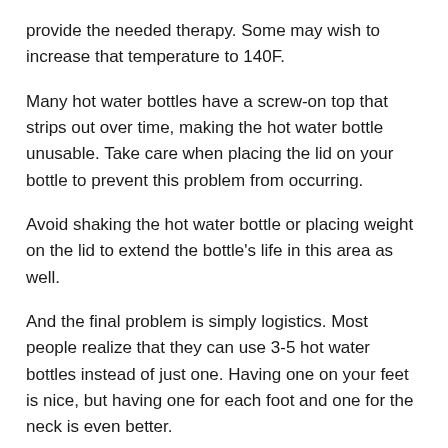provide the needed therapy. Some may wish to increase that temperature to 140F.
Many hot water bottles have a screw-on top that strips out over time, making the hot water bottle unusable. Take care when placing the lid on your bottle to prevent this problem from occurring.
Avoid shaking the hot water bottle or placing weight on the lid to extend the bottle's life in this area as well.
And the final problem is simply logistics. Most people realize that they can use 3-5 hot water bottles instead of just one. Having one on your feet is nice, but having one for each foot and one for the neck is even better.
Read Next – Best Thermal Cotton Blanket in 2022